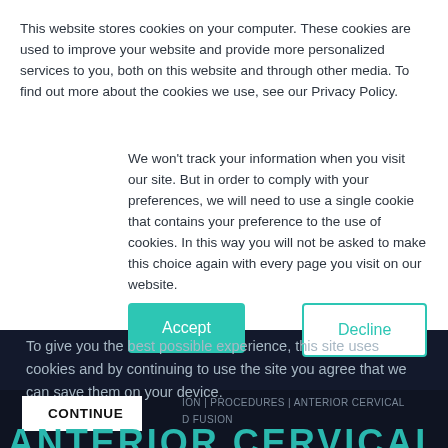This website stores cookies on your computer. These cookies are used to improve your website and provide more personalized services to you, both on this website and through other media. To find out more about the cookies we use, see our Privacy Policy.
We won't track your information when you visit our site. But in order to comply with your preferences, we will need to use a single cookie that contains your preference to the use of cookies. In this way you will not be asked to make this choice again with every page you visit on our website.
Accept
Decline
To give you the best possible experience, this site uses cookies and by continuing to use the site you agree that we can save them on your device.
CONTINUE
ION | PROCEDURES | ANTERIOR CERVICAL D FUSION
ANTERIOR CERVICAL